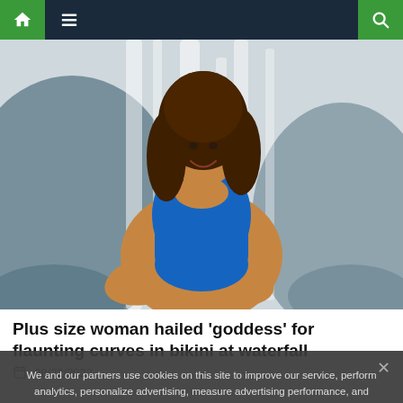Navigation bar with home, menu, and search icons
[Figure (photo): A plus-size woman wearing a blue bikini/swimsuit posing at a waterfall, sitting on rocks with a large waterfall in the background. She has curly brown hair and is smiling.]
Plus size woman hailed ‘goddess’ for flaunting curves in bikini at waterfall
08/22/2022
We and our partners use cookies on this site to improve our service, perform analytics, personalize advertising, measure advertising performance, and remember website preferences.
Ok